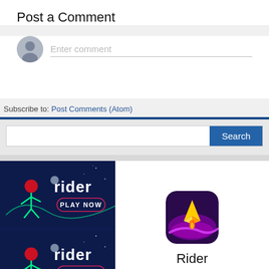Post a Comment
Enter comment
Subscribe to: Post Comments (Atom)
Search
[Figure (illustration): Rider game banner ad with dark blue background, stickman character with red dot head, neon green bike trail, 'rider' text logo, and 'PLAY NOW' button]
[Figure (illustration): Rider game banner ad (duplicate) with dark blue background, stickman character with red dot head, neon green bike trail, 'rider' text logo, and 'PLAY NOW' button]
[Figure (illustration): Rider app icon: purple/dark background with golden spaceship and pink/purple neon trail, rounded square icon]
Rider